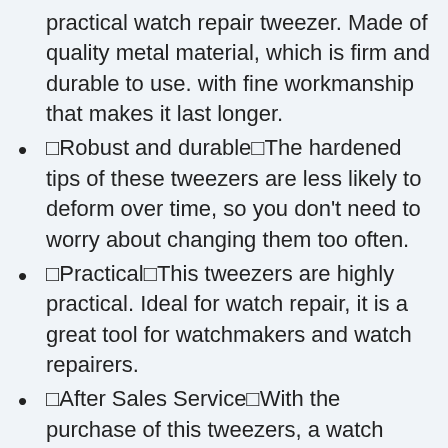practical watch repair tweezer. Made of quality metal material, which is firm and durable to use. with fine workmanship that makes it last longer.
🔲Robust and durable🔲The hardened tips of these tweezers are less likely to deform over time, so you don't need to worry about changing them too often.
🔲Practical🔲This tweezers are highly practical. Ideal for watch repair, it is a great tool for watchmakers and watch repairers.
🔲After Sales Service🔲With the purchase of this tweezers, a watch repair tool, you will receive a well-made tweezer and enjoy a 7-day no-questions-asked return and 3 months free repair service after receiving the goods. We have customer service on hand to answer